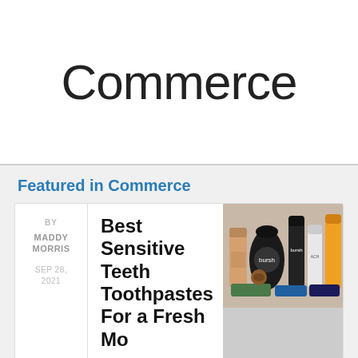Commerce
Featured in Commerce
BY MADDY MORRIS
SEP 28, 2021
Best Sensitive Teeth Toothpastes For a Fresh Mouth
[Figure (photo): Collection of toothpaste and dental care product tubes and bottles arranged together]